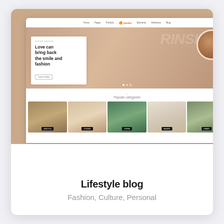[Figure (screenshot): Screenshot of a lifestyle blog website mockup showing a browser window with a hero image section featuring a 'Love can bring back the smile and fashion' headline and category thumbnails below. The browser displays a website named 'Umka' with navigation links.]
Lifestyle blog
Fashion, Culture, Personal